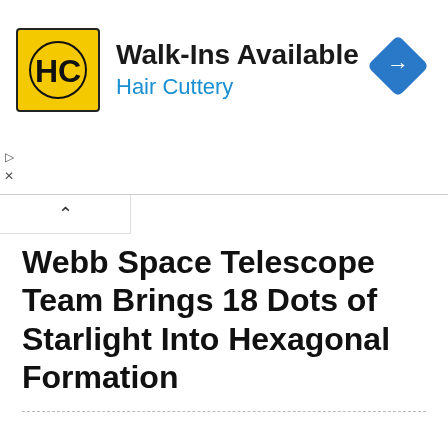[Figure (logo): Hair Cuttery advertisement banner with HC logo in yellow square, text 'Walk-Ins Available' and 'Hair Cuttery' in blue, and a blue diamond navigation icon on the right]
Webb Space Telescope Team Brings 18 Dots of Starlight Into Hexagonal Formation